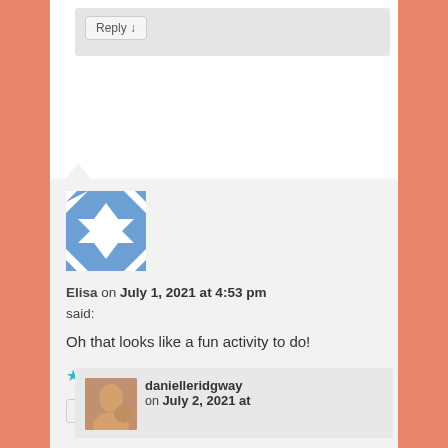Reply ↓
[Figure (illustration): Blue and white geometric avatar icon for user Elisa]
Elisa on July 1, 2021 at 4:53 pm said:
Oh that looks like a fun activity to do!
★ Liked by 1 person
Reply ↓
[Figure (photo): Small photo avatar of danielleridgway]
danielleridgway on July 2, 2021 at